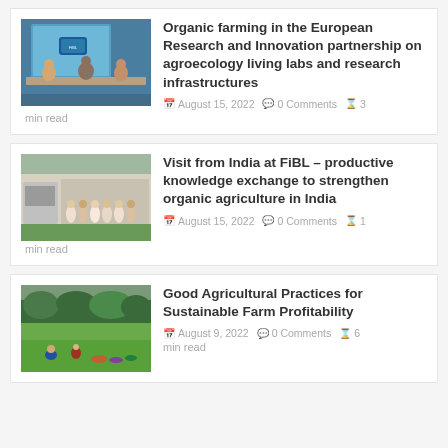[Figure (photo): Conference panel scene with speakers at a table in front of a screen]
Organic farming in the European Research and Innovation partnership on agroecology living labs and research infrastructures
August 15, 2022   0 Comments   3 min read
[Figure (photo): Group of people standing outdoors in front of a building]
Visit from India at FiBL – productive knowledge exchange to strengthen organic agriculture in India
August 15, 2022   0 Comments   1 min read
[Figure (photo): People in a green field, agricultural scene]
Good Agricultural Practices for Sustainable Farm Profitability
August 9, 2022   0 Comments   6 min read